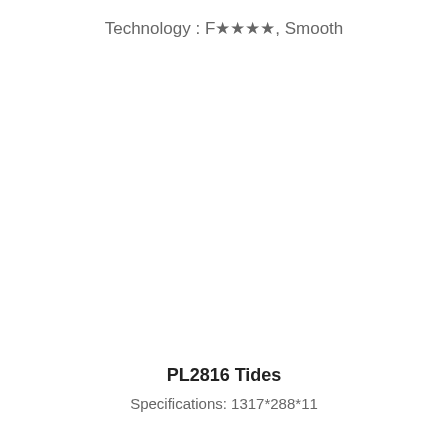Technology : F★★★★, Smooth
PL2816 Tides
Specifications: 1317*288*11